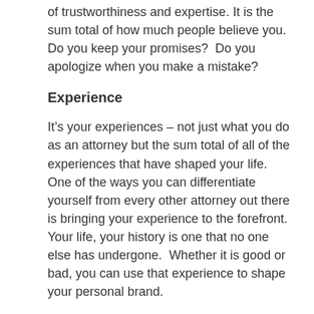of trustworthiness and expertise. It is the sum total of how much people believe you.  Do you keep your promises?  Do you apologize when you make a mistake?
Experience
It’s your experiences – not just what you do as an attorney but the sum total of all of the experiences that have shaped your life.  One of the ways you can differentiate yourself from every other attorney out there is bringing your experience to the forefront.  Your life, your history is one that no one else has undergone.  Whether it is good or bad, you can use that experience to shape your personal brand.
It’s also the experience the client has with you as an attorney and human being. Use your personal experiences to connect with and create relationships